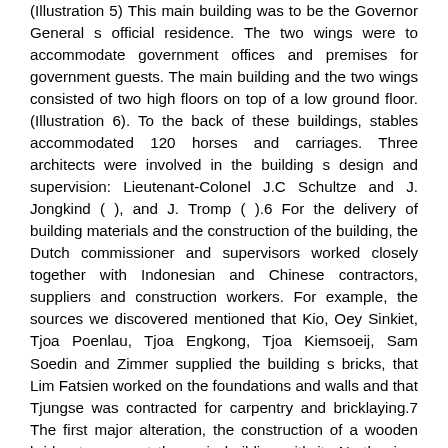(Illustration 5) This main building was to be the Governor General s official residence. The two wings were to accommodate government offices and premises for government guests. The main building and the two wings consisted of two high floors on top of a low ground floor. (Illustration 6). To the back of these buildings, stables accommodated 120 horses and carriages. Three architects were involved in the building s design and supervision: Lieutenant-Colonel J.C Schultze and J. Jongkind ( ), and J. Tromp ( ).6 For the delivery of building materials and the construction of the building, the Dutch commissioner and supervisors worked closely together with Indonesian and Chinese contractors, suppliers and construction workers. For example, the sources we discovered mentioned that Kio, Oey Sinkiet, Tjoa Poenlau, Tjoa Engkong, Tjoa Kiemsoeij, Sam Soedin and Zimmer supplied the building s bricks, that Lim Fatsien worked on the foundations and walls and that Tjungse was contracted for carpentry and bricklaying.7 The first major alteration, the construction of a wooden bridge to connect the main building with its North wing, executed in In the 1970s, a copy of this bridge was built to connect the main building to its South wing. In